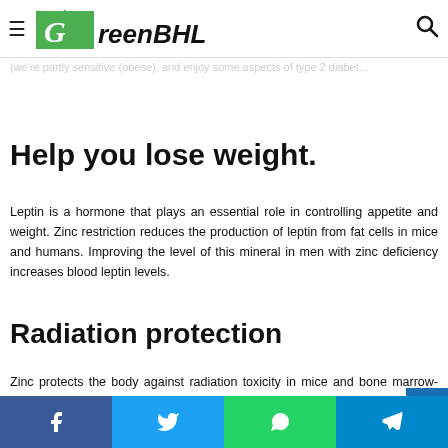GreenBHL
Help you lose weight.
Leptin is a hormone that plays an essential role in controlling appetite and weight. Zinc restriction reduces the production of leptin from fat cells in mice and humans. Improving the level of this mineral in men with zinc deficiency increases blood leptin levels.
Radiation protection
Zinc protects the body against radiation toxicity in mice and bone marrow-producing cells. Reduces oxidative stress (measured by MDA levels) and stabilizes antioxidant enzymes in red blood cells after exposure to radioactive iodine.
Facebook Twitter WhatsApp Telegram